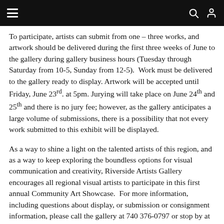Navigation bar with hamburger menu, search, and user icons
To participate, artists can submit from one – three works, and artwork should be delivered during the first three weeks of June to the gallery during gallery business hours (Tuesday through Saturday from 10-5, Sunday from 12-5). Work must be delivered to the gallery ready to display. Artwork will be accepted until Friday, June 23rd. at 5pm. Jurying will take place on June 24th and 25th and there is no jury fee; however, as the gallery anticipates a large volume of submissions, there is a possibility that not every work submitted to this exhibit will be displayed.
As a way to shine a light on the talented artists of this region, and as a way to keep exploring the boundless options for visual communication and creativity, Riverside Artists Gallery encourages all regional visual artists to participate in this first annual Community Art Showcase. For more information, including questions about display, or submission or consignment information, please call the gallery at 740 376-0797 or stop by at 219 Second Street. If you are an artist, please plan to participate, and if you are a lover of the arts, please plan to join the gallery members and the artists of this region at the opening reception